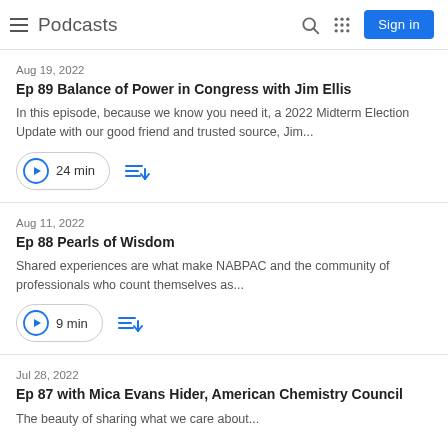Podcasts
Aug 19, 2022
Ep 89 Balance of Power in Congress with Jim Ellis
In this episode, because we know you need it, a 2022 Midterm Election Update with our good friend and trusted source, Jim...
24 min
Aug 11, 2022
Ep 88 Pearls of Wisdom
Shared experiences are what make NABPAC and the community of professionals who count themselves as...
9 min
Jul 28, 2022
Ep 87 with Mica Evans Hider, American Chemistry Council
The beauty of sharing what we care about...